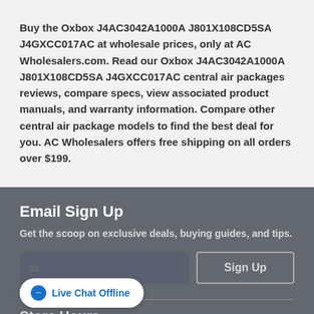Buy the Oxbox J4AC3042A1000A J801X108CD5SA J4GXCC017AC at wholesale prices, only at AC Wholesalers.com. Read our Oxbox J4AC3042A1000A J801X108CD5SA J4GXCC017AC central air packages reviews, compare specs, view associated product manuals, and warranty information. Compare other central air package models to find the best deal for you. AC Wholesalers offers free shipping on all orders over $199.
Email Sign Up
Get the scoop on exclusive deals, buying guides, and tips.
Sign Up
[Figure (other): Live Chat Offline button widget overlapping email input field]
Store Hours